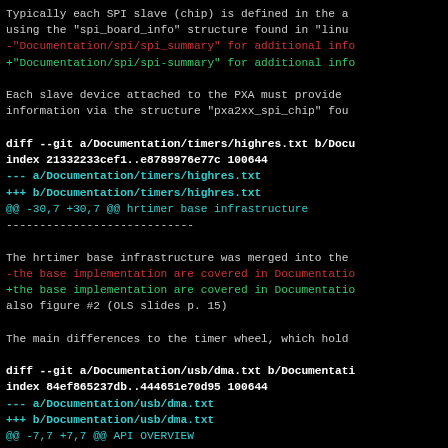Typically each SPI slave (chip) is defined in the a using the "spi_board_info" structure found in "linu -"Documentation/spi/spi_summary" for additional info +"Documentation/spi/spi-summary" for additional info
Each slave device attached to the PXA must provide information via the structure "pxa2xx_spi_chip" fou
diff --git a/Documentation/timers/highres.txt b/Docu index 21332233cef1..e8789976e77c 100644 --- a/Documentation/timers/highres.txt +++ b/Documentation/timers/highres.txt @@ -30,7 +30,7 @@ hrtimer base infrastructure ----------------------------
The hrtimer base infrastructure was merged into the -the base implementation are covered in Documentatio +the base implementation are covered in Documentatio  also figure #2 (OLS slides p. 15)
The main differences to the timer wheel, which hold
diff --git a/Documentation/usb/dma.txt b/Documentati index 84ef865237db..444651e70d95 100644 --- a/Documentation/usb/dma.txt +++ b/Documentation/usb/dma.txt @@ -7,7 +7,7 @@ API OVERVIEW
The big picture is that USB drivers can continue to though they still must provide DMA-ready buffers (s